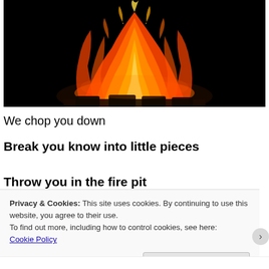[Figure (photo): A bonfire or campfire burning brightly against a dark/black background, showing orange and yellow flames with sparks]
We chop you down
Break you know into little pieces
Throw you in the fire pit
Privacy & Cookies: This site uses cookies. By continuing to use this website, you agree to their use.
To find out more, including how to control cookies, see here:
Cookie Policy
Close and accept